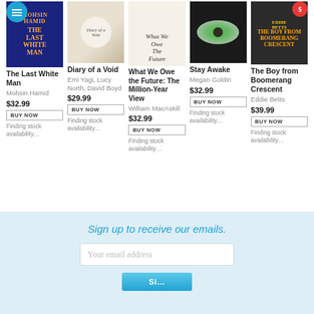[Figure (other): Book cover: The Last White Man by Mohsin Hamid, dark blue background with orange text]
The Last White Man
Mohsin Hamid
$32.99
BUY NOW
Finding stock availability…
[Figure (other): Book cover: Diary of a Void by Emi Yagi, with circular design]
Diary of a Void
Emi Yagi, Lucy North, David Boyd
$29.99
BUY NOW
Finding stock availability…
[Figure (other): Book cover: What We Owe the Future: The Million-Year View by William MacAskill]
What We Owe the Future: The Million-Year View
William MacAskill
$32.99
BUY NOW
Finding stock availability…
[Figure (other): Book cover: Stay Awake by Megan Goldin, dark background with close-up eye]
Stay Awake
Megan Goldin
$32.99
BUY NOW
Finding stock availability…
[Figure (other): Book cover: The Boy from Boomerang Crescent by Eddie Betts, dark background with photo of smiling man]
The Boy from Boomerang Crescent
Eddie Betts
$39.99
BUY NOW
Finding stock availability…
Sign up to receive our emails.
Your email address
Si…